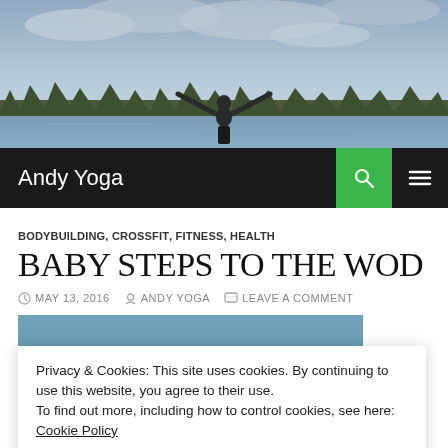[Figure (photo): Hero photo of a shirtless person with arms outstretched standing in front of a lake and tree line under a cloudy sky]
Andy Yoga
BODYBUILDING, CROSSFIT, FITNESS, HEALTH
BABY STEPS TO THE WOD
MAY 13, 2016  ANDY YOGA  LEAVE A COMMENT
[Figure (photo): Partial article image showing water/lake scene]
Privacy & Cookies: This site uses cookies. By continuing to use this website, you agree to their use.
To find out more, including how to control cookies, see here: Cookie Policy
Close and accept